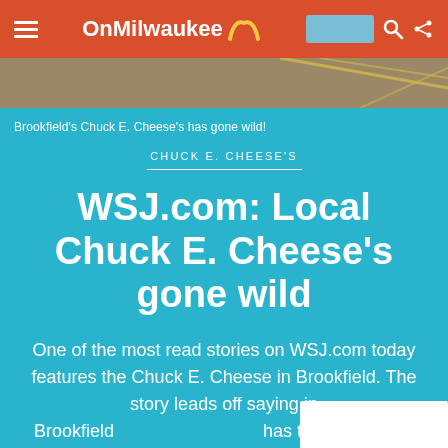OnMilwaukee
[Figure (photo): Hero image showing a parking lot surface with yellow lines, brown/tan asphalt texture]
Brookfield's Chuck E. Cheese's has gone wild!
CHUCK E. CHEESE'S
WSJ.com: Local Chuck E. Cheese's gone wild
One of the most read stories on WSJ.com today features the Chuck E. Cheese in Brookfield. The story leads off saying in Brookfield has triggered more calls to the po since last year than Chuck E. Cheese."